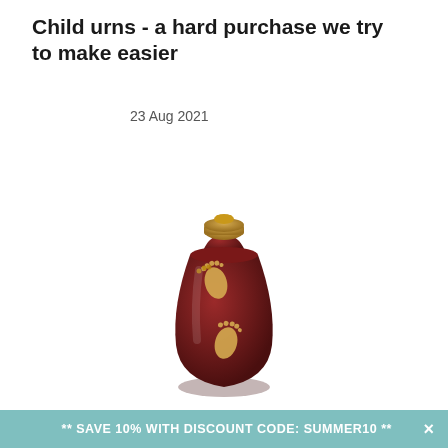Child urns - a hard purchase we try to make easier
23 Aug 2021
[Figure (photo): A small dark red/maroon cremation urn with gold footprint designs on the surface, with a gold-colored top cap. The urn has an oval/barrel shape.]
** SAVE 10% WITH DISCOUNT CODE: SUMMER10 ** ×